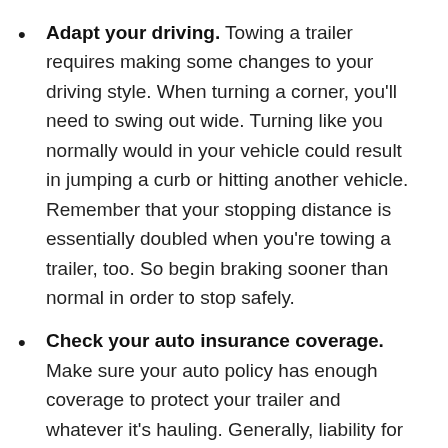Adapt your driving. Towing a trailer requires making some changes to your driving style. When turning a corner, you'll need to swing out wide. Turning like you normally would in your vehicle could result in jumping a curb or hitting another vehicle. Remember that your stopping distance is essentially doubled when you're towing a trailer, too. So begin braking sooner than normal in order to stop safely.
Check your auto insurance coverage. Make sure your auto policy has enough coverage to protect your trailer and whatever it's hauling. Generally, liability for your trailer is covered by your auto insurance policy as long as you're using an insured vehicle to tow it. Additionally, most of your toys can be added to your auto policy, and physical damage coverage for your trailer is also available for